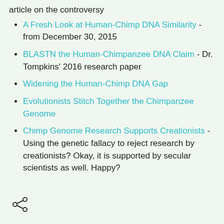article on the controversy
A Fresh Look at Human-Chimp DNA Similarity - from December 30, 2015
BLASTN the Human-Chimpanzee DNA Claim - Dr. Tompkins' 2016 research paper
Widening the Human-Chimp DNA Gap
Evolutionists Stitch Together the Chimpanzee Genome
Chimp Genome Research Supports Creationists - Using the genetic fallacy to reject research by creationists? Okay, it is supported by secular scientists as well. Happy?